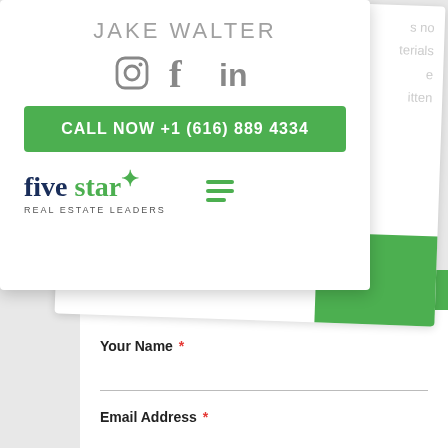JAKE WALTER
[Figure (logo): Social media icons: Instagram, Facebook, LinkedIn]
CALL NOW +1 (616) 889 4334
[Figure (logo): Five Star Real Estate Leaders logo with hamburger menu icon]
Your Name *
Email Address *
Subject Number *